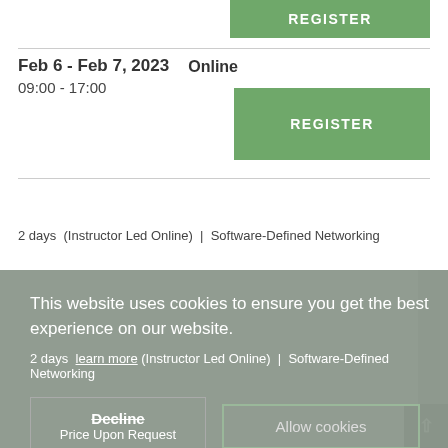[Figure (screenshot): Green REGISTER button partially visible at top of page]
Feb 6 - Feb 7, 2023
09:00 - 17:00
Online
[Figure (screenshot): Green REGISTER button]
2 days  (Instructor Led Online)  |  Software-Defined Networking
This website uses cookies to ensure you get the best experience on our website.
Decline
Price Upon Request
Allow cookies
[Figure (screenshot): Partial green REGISTER button at bottom]